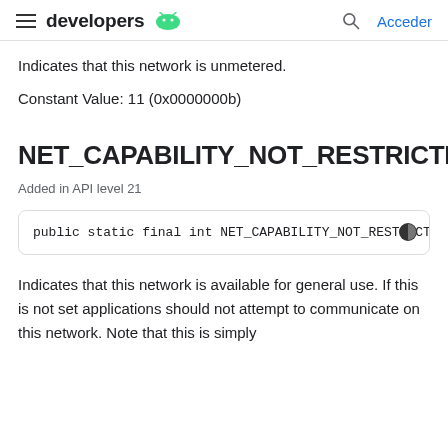developers | Acceder
Indicates that this network is unmetered.
Constant Value: 11 (0x0000000b)
NET_CAPABILITY_NOT_RESTRICTED
Added in API level 21
public static final int NET_CAPABILITY_NOT_RESTRICTED
Indicates that this network is available for general use. If this is not set applications should not attempt to communicate on this network. Note that this is simply